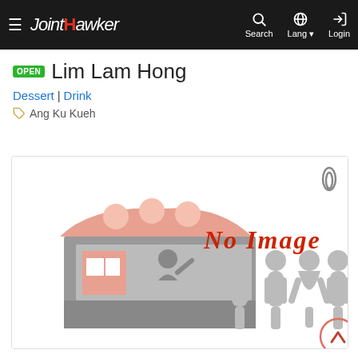JointHawker — Search | Lang | Login
Lim Lam Hong
Dessert | Drink
Ang Ku Kueh
[Figure (illustration): No Image placeholder with hawker stall graphic and person silhouettes. Red handwritten 'No Image' text. Paperclip icon top right. Navigation arrow circle bottom right.]